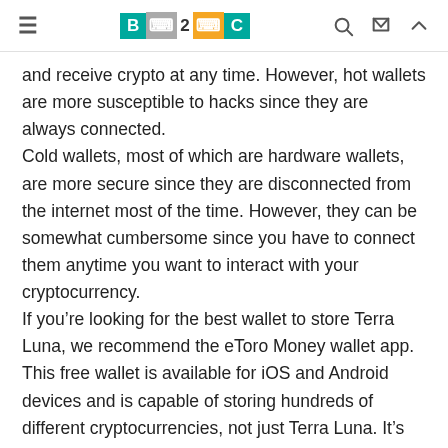B2C
and receive crypto at any time. However, hot wallets are more susceptible to hacks since they are always connected.
Cold wallets, most of which are hardware wallets, are more secure since they are disconnected from the internet most of the time. However, they can be somewhat cumbersome since you have to connect them anytime you want to interact with your cryptocurrency.
If you’re looking for the best wallet to store Terra Luna, we recommend the eToro Money wallet app. This free wallet is available for iOS and Android devices and is capable of storing hundreds of different cryptocurrencies, not just Terra Luna. It’s connected to the eToro crypto exchange, making it easy to buy, sell, and swap cryptocurrencies. Plus, the eToro Money app is highly secure.